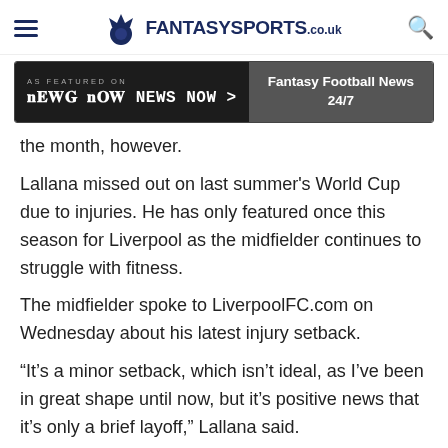FantasySports.co.uk
[Figure (screenshot): Banner ad: 'AS FEATURED ON NEWS NOW' on left, 'Fantasy Football News 24/7' on right, dark background]
the month, however.
Lallana missed out on last summer's World Cup due to injuries. He has only featured once this season for Liverpool as the midfielder continues to struggle with fitness.
The midfielder spoke to LiverpoolFC.com on Wednesday about his latest injury setback.
“It’s a minor setback, which isn’t ideal, as I’ve been in great shape until now, but it’s positive news that it’s only a brief layoff,” Lallana said.
“I’m pleased I’ll be back available for Liverpool,